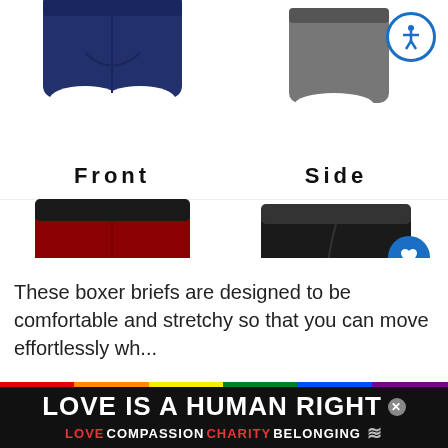[Figure (photo): Four product view photos of boxer briefs: Front (navy blue), Side (grey), Diagonal (red/dark), Back (black). Arranged in a 2x2 grid with labels below each image.]
Front
Side
Diagonal
Back
These boxer briefs are designed to be comfortable and stretchy so that you can move effortlessly wh...
[Figure (infographic): Banner: LOVE IS A HUMAN RIGHT with rainbow stripe and subtitle LOVE COMPASSION CHARITY BELONGING]